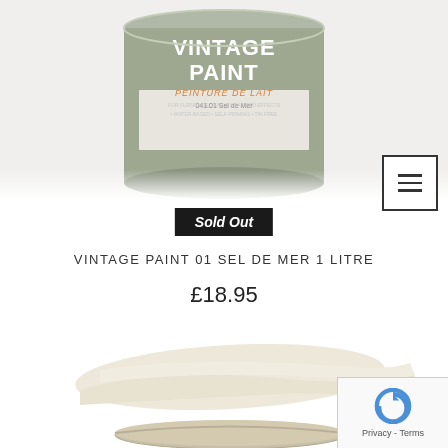[Figure (photo): Paint tin labeled 'VINTAGE PAINT / PEINTURE DE LAIT' in sage green color with gold text, showing product label 'Sel de Mer']
[Figure (illustration): Hamburger menu icon (three horizontal lines) inside a square border]
Sold Out
VINTAGE PAINT 01 SEL DE MER 1 LITRE
£18.95
[Figure (photo): Paint color swatch brush strokes in cream/off-white color above a paint tin lid, showing the Sel de Mer color]